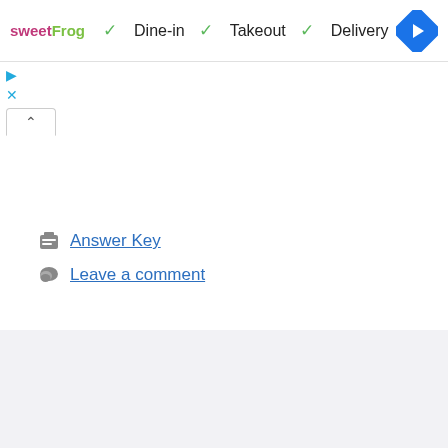[Figure (screenshot): sweetFrog logo followed by checkmarks for Dine-in, Takeout, Delivery service options and a blue navigation diamond icon]
[Figure (screenshot): Small blue play and X icons for an ad unit]
[Figure (screenshot): Tab with up-caret indicating a collapsed panel]
Answer Key
Leave a comment